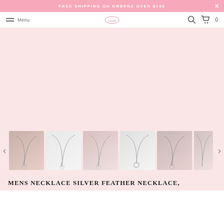FREE SHIPPING ON ORDERS OVER $100
Menu
[Figure (screenshot): Pink-background main product image area showing necklace (blank/light pink placeholder)]
[Figure (photo): Thumbnail strip with 6 small product images of silver feather necklaces, with left/right navigation arrows]
MENS NECKLACE SILVER FEATHER NECKLACE,